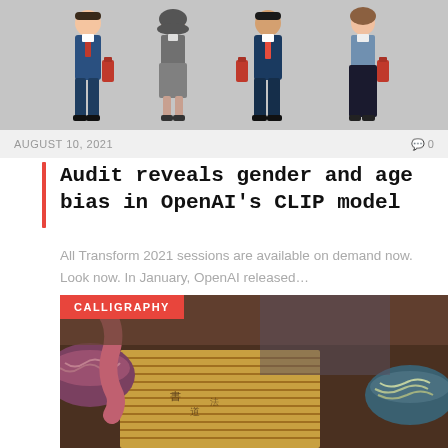[Figure (illustration): Illustration of four business figures standing in a row against a gray background, wearing professional attire in blue and gray tones, each holding a red briefcase or folder.]
AUGUST 10, 2021   🗨 0
Audit reveals gender and age bias in OpenAI's CLIP model
All Transform 2021 sessions are available on demand now. Look now. In January, OpenAI released…
[Figure (photo): Close-up photograph of a calligraphy scene with a bamboo mat, ink, brushes, and bowls with noodles or food, tagged CALLIGRAPHY in the top-left corner.]